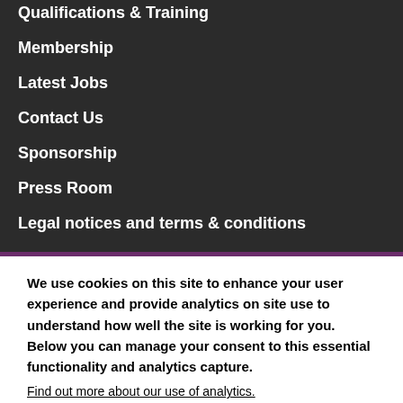Qualifications & Training
Membership
Latest Jobs
Contact Us
Sponsorship
Press Room
Legal notices and terms & conditions
We use cookies on this site to enhance your user experience and provide analytics on site use to understand how well the site is working for you. Below you can manage your consent to this essential functionality and analytics capture.
Find out more about our use of analytics.
Essential
These are required for the functionality of the site such as account login.
Analytics